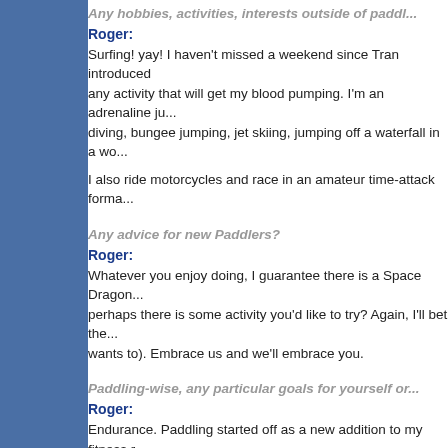Any hobbies, activities, interests outside of paddl...
Roger:
Surfing! yay! I haven't missed a weekend since Tran introduced... any activity that will get my blood pumping. I'm an adrenaline ju... diving, bungee jumping, jet skiing, jumping off a waterfall in a wo...
I also ride motorcycles and race in an amateur time-attack forma...
Any advice for new Paddlers?
Roger:
Whatever you enjoy doing, I guarantee there is a Space Dragon... perhaps there is some activity you'd like to try? Again, I'll bet the... wants to). Embrace us and we'll embrace you.
Paddling-wise, any particular goals for yourself or...
Roger:
Endurance. Paddling started off as a new addition to my fitness... everything I do is to help me become a better paddler. I want to b... effortlessly as those little girls I mentioned earlier make it look. I... I need to fix that.